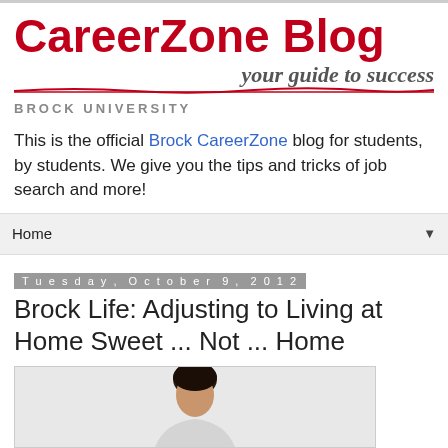CareerZone Blog your guide to success BROCK UNIVERSITY
This is the official Brock CareerZone blog for students, by students. We give you the tips and tricks of job search and more!
Home
Tuesday, October 9, 2012
Brock Life: Adjusting to Living at Home Sweet ... Not ... Home
[Figure (photo): Photo of a person, partially visible, dark hair, cropped at top of frame]